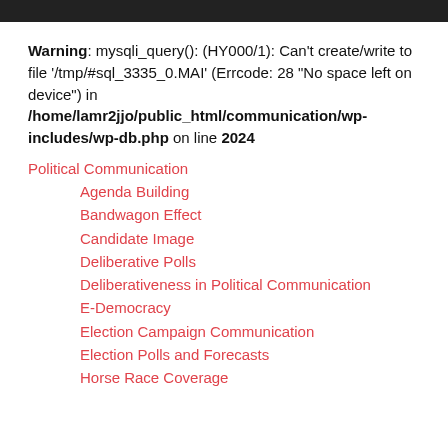Warning: mysqli_query(): (HY000/1): Can't create/write to file '/tmp/#sql_3335_0.MAI' (Errcode: 28 "No space left on device") in /home/lamr2jjo/public_html/communication/wp-includes/wp-db.php on line 2024
Political Communication
Agenda Building
Bandwagon Effect
Candidate Image
Deliberative Polls
Deliberativeness in Political Communication
E-Democracy
Election Campaign Communication
Election Polls and Forecasts
Horse Race Coverage